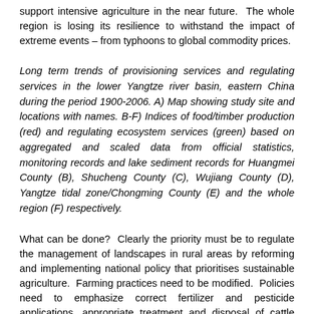support intensive agriculture in the near future.  The whole region is losing its resilience to withstand the impact of extreme events – from typhoons to global commodity prices.
Long term trends of provisioning services and regulating services in the lower Yangtze river basin, eastern China during the period 1900-2006. A) Map showing study site and locations with names. B-F) Indices of food/timber production (red) and regulating ecosystem services (green) based on aggregated and scaled data from official statistics, monitoring records and lake sediment records for Huangmei County (B), Shucheng County (C), Wujiang County (D), Yangtze tidal zone/Chongming County (E) and the whole region (F) respectively.
What can be done?  Clearly the priority must be to regulate the management of landscapes in rural areas by reforming and implementing national policy that prioritises sustainable agriculture.  Farming practices need to be modified.  Policies need to emphasize correct fertilizer and pesticide applications, appropriate treatment and disposal of cattle slurry and human sewage, reducing soil run-off to